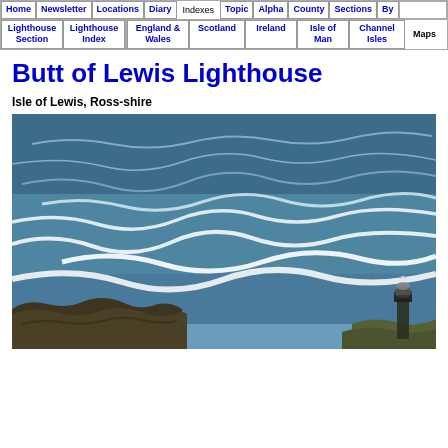Home | Newsletter | Locations | Diary | Indexes | Topic | Alpha | County | Sections | By | Lighthouse Section | Lighthouse Index | England & Wales | Scotland | Ireland | Isle of Man | Channel Isles | Maps
Butt of Lewis Lighthouse
Isle of Lewis, Ross-shire
[Figure (photo): Coastal seascape photo showing rough dark blue sea with white-capped waves, rocky coastline with dark green/brown rocks in the foreground and bottom right, and a lighthouse structure visible at the far right edge of the image.]